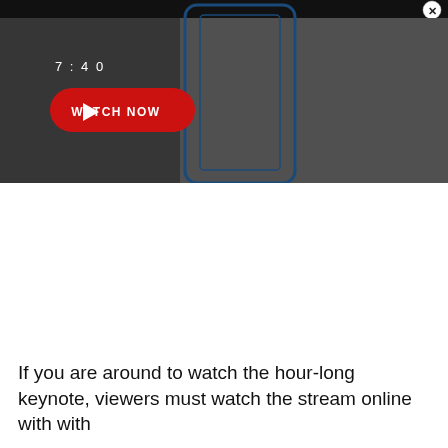[Figure (screenshot): Video player screenshot with dark gray gradient background showing a smartphone outline in blue. Timestamp '7:40' in white top-left. Large red rounded 'WATCH NOW' button with white play triangle icon in center-left area. White 'X' close button in top-right corner on black bar.]
If you are around to watch the hour-long keynote, viewers must watch the stream online with with